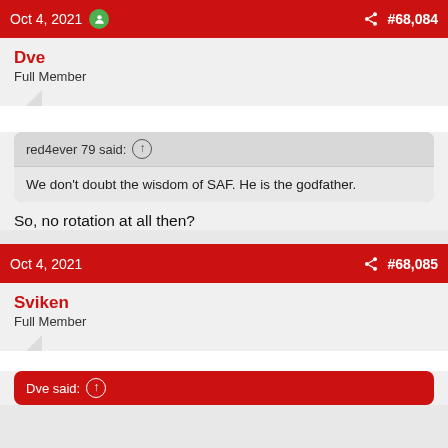Oct 4, 2021  #68,084
Dve
Full Member
red4ever 79 said: ↑
We don't doubt the wisdom of SAF. He is the godfather.
So, no rotation at all then?
Oct 4, 2021  #68,085
Sviken
Full Member
Dve said: ↑